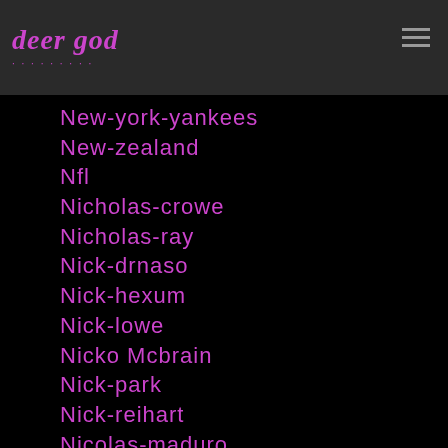deer god
New-york-yankees
New-zealand
Nfl
Nicholas-crowe
Nicholas-ray
Nick-drnaso
Nick-hexum
Nick-lowe
Nicko Mcbrain
Nick-park
Nick-reihart
Nicolas-maduro
Nicolas-roeg
Nifelheim
Niff Nawor
Nigel-godrich
Nigel-hawthorne